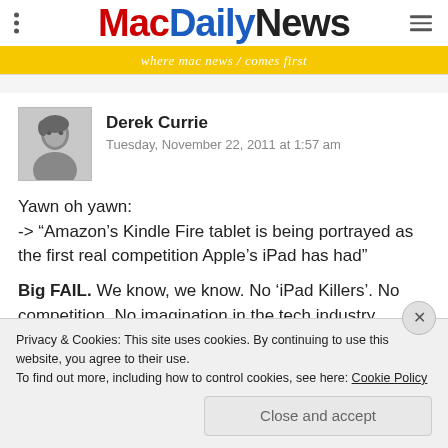MacDailyNews — where mac news / comes first
[Figure (photo): Black and white headshot photo of Derek Currie]
Derek Currie
Tuesday, November 22, 2011 at 1:57 am
Yawn oh yawn:
-> “Amazon’s Kindle Fire tablet is being portrayed as the first real competition Apple’s iPad has had”
Big FAIL. We know, we know. No ‘iPad Killers’. No competition. No imagination in the tech industry. EXCEPT
Privacy & Cookies: This site uses cookies. By continuing to use this website, you agree to their use.
To find out more, including how to control cookies, see here: Cookie Policy
Close and accept